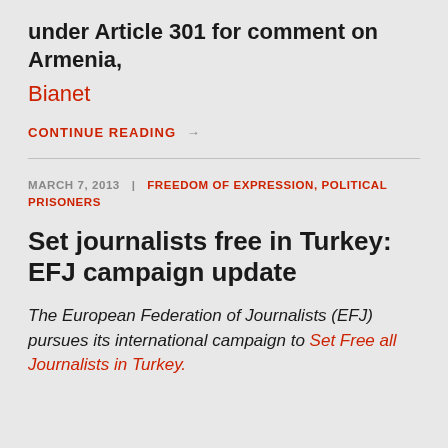under Article 301 for comment on Armenia, Bianet
CONTINUE READING →
MARCH 7, 2013 | FREEDOM OF EXPRESSION, POLITICAL PRISONERS
Set journalists free in Turkey: EFJ campaign update
The European Federation of Journalists (EFJ) pursues its international campaign to Set Free all Journalists in Turkey.